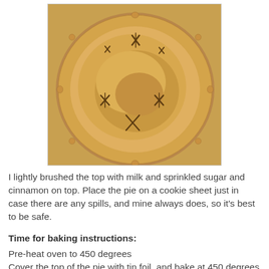[Figure (photo): Top-down view of a golden-brown baked pie with crimped edges and star/cross-shaped steam vents cut into the top crust, sitting on a textured surface.]
I lightly brushed the top with milk and sprinkled sugar and cinnamon on top. Place the pie on a cookie sheet just in case there are any spills, and mine always does, so it's best to be safe.
Time for baking instructions:
Pre-heat oven to 450 degrees
Cover the top of the pie with tin foil, and bake at 450 degrees for 15 minutes
After 15 minutes remove the tin foil, lower the oven to 375 degrees